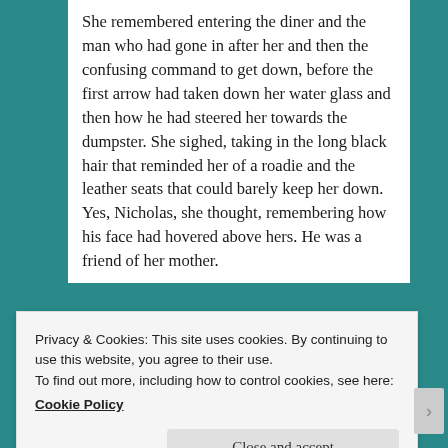She remembered entering the diner and the man who had gone in after her and then the confusing command to get down, before the first arrow had taken down her water glass and then how he had steered her towards the dumpster. She sighed, taking in the long black hair that reminded her of a roadie and the leather seats that could barely keep her down. Yes, Nicholas, she thought, remembering how his face had hovered above hers. He was a friend of her mother.
[Figure (other): Partial advertisement banner with blue background showing icons and partial text 'app you'll ever need.']
REPORT THIS AD
Privacy & Cookies: This site uses cookies. By continuing to use this website, you agree to their use.
To find out more, including how to control cookies, see here:
Cookie Policy
Close and accept